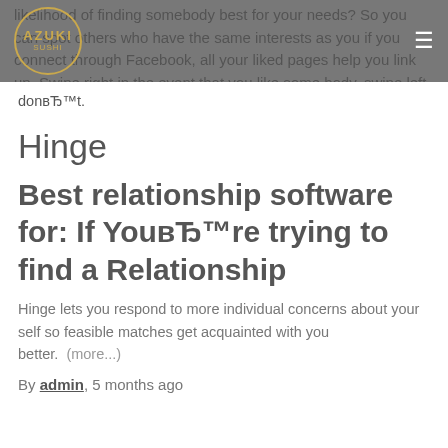AZUKI
likelihood of finding somebody best for your needs? So you can spot others who have the same interests as you if you connect through Facebook, all your liked pages help you link up. Swipe right in the event that you like some body, swipe left in the event that you donвЂ™t.
Hinge
Best relationship software for: If YouвЂ™re trying to find a Relationship
Hinge lets you respond to more individual concerns about your self so feasible matches get acquainted with you better. (more...)
By admin, 5 months ago